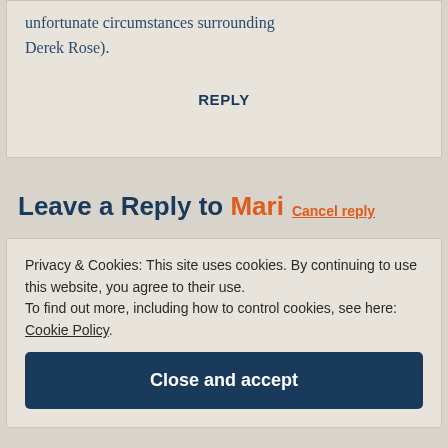unfortunate circumstances surrounding Derek Rose).
REPLY
Leave a Reply to Mari Cancel reply
Privacy & Cookies: This site uses cookies. By continuing to use this website, you agree to their use. To find out more, including how to control cookies, see here: Cookie Policy
Close and accept